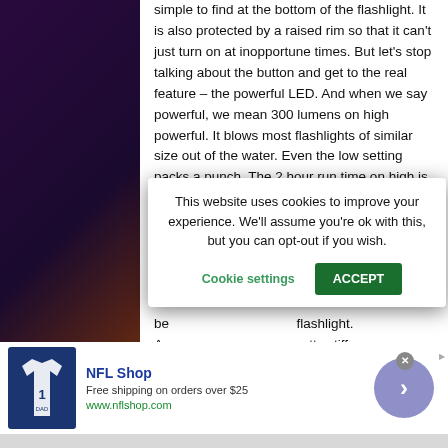simple to find at the bottom of the flashlight. It is also protected by a raised rim so that it can't just turn on at inopportune times. But let's stop talking about the button and get to the real feature – the powerful LED. And when we say powerful, we mean 300 lumens on high powerful. It blows most flashlights of similar size out of the water. Even the low setting packs a punch. The 2 hour run time on high is pretty remarkable for how much light it is pumping out. Although it drops from 300 to 84 lumens on low you will get about 24 hours of life...
It is a pretty... flood (767 f... that can be... flashlight. A... pretty stiff to... starts to loosen.
This website uses cookies to improve your experience. We'll assume you're ok with this, but you can opt-out if you wish.
Cookie settings
ACCEPT
NFL Shop
Free shipping on orders over $25
www.nflshop.com